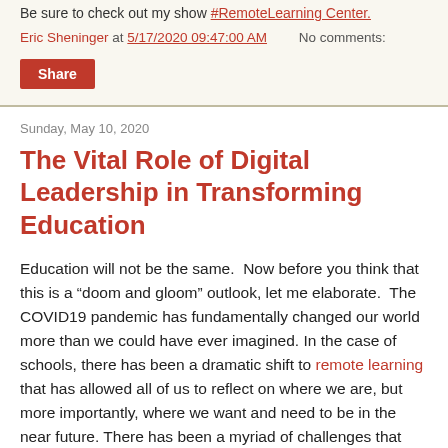Be sure to check out my show #RemoteLearning Center.
Eric Sheninger at 5/17/2020 09:47:00 AM    No comments:
Share
Sunday, May 10, 2020
The Vital Role of Digital Leadership in Transforming Education
Education will not be the same.  Now before you think that this is a “doom and gloom” outlook, let me elaborate.  The COVID19 pandemic has fundamentally changed our world more than we could have ever imagined. In the case of schools, there has been a dramatic shift to remote learning that has allowed all of us to reflect on where we are, but more importantly, where we want and need to be in the near future. There has been a myriad of challenges that have, and will, continue to be overcome. Through all this adversity, educators have risen to the occasion and have begun the tedious process of redefining education and what real learning really should be.